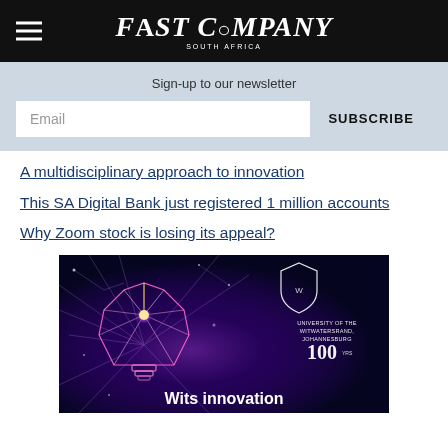FAST COMPANY
Sign-up to our newsletter
A multidisciplinary approach to innovation
This SA Digital Bank just registered 1 million accounts
Why Zoom stock is losing its appeal?
[Figure (illustration): University of the Witwatersrand Johannesburg 100 years advertisement featuring a glowing geometric lightbulb on a dark blue background with the text 'Wits innovation']